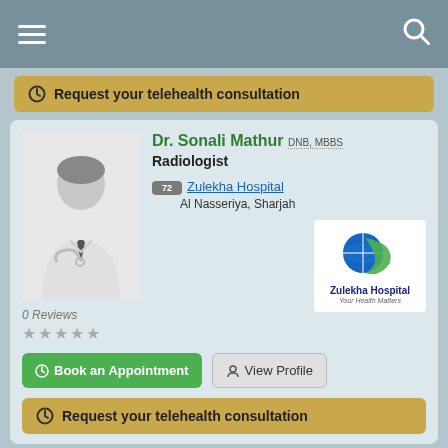Navigation bar with menu and search icons
Request your telehealth consultation
Dr. Sonali Mathur DNB, MBBS
Radiologist
Zulekha Hospital
Al Nasseriya, Sharjah
0 Reviews
[Figure (illustration): Generic doctor silhouette placeholder image]
[Figure (logo): Zulekha Hospital logo with tagline 'Your Health Matters']
Book an Appointment
View Profile
Request your telehealth consultation
Dr. Chidanand Bedjirgi FAIS, FCCP, MBBS,
Mch(CTVS), MS